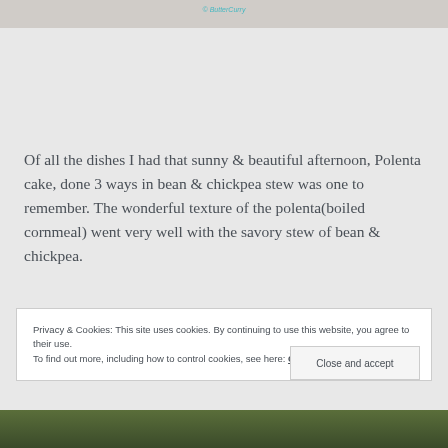[Figure (photo): Top portion of a food photo with a watermark reading '© ButterCurry' in teal italic text on an orange/food background]
Of all the dishes I had that sunny & beautiful afternoon, Polenta cake, done 3 ways in bean & chickpea stew was one to remember. The wonderful texture of the polenta(boiled cornmeal) went very well with the savory stew of bean & chickpea.
Privacy & Cookies: This site uses cookies. By continuing to use this website, you agree to their use.
To find out more, including how to control cookies, see here: Cookie Policy
Close and accept
[Figure (photo): Bottom portion of a food photo showing dark green vegetables or garnish]